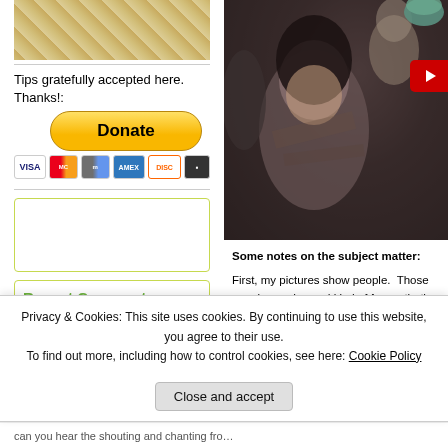[Figure (photo): Partial food photo at top left, showing a textured golden-brown food surface]
Tips gratefully accepted here. Thanks!:
[Figure (other): Donate button with PayPal styling, yellow rounded rectangle with 'Donate' text, and credit card icons below (Visa, Mastercard, Maestro, Amex, Discover, other)]
[Figure (other): Empty widget box with green border]
Recent Comments
William on A preview of restoring meaning…
jmac on Deplorable Fascists
[Figure (photo): Blurry crowd photo showing people in a crowd, dark tones, with a red YouTube button overlay at top right]
Some notes on the subject matter:
First, my pictures show people. Those people are dressed kind of funny, that's not because they're in New York City. Dressing funny is the default. Perhaps for you who don't live in the NYC metropolitan area, you either wear black or you make a statement.
Privacy & Cookies: This site uses cookies. By continuing to use this website, you agree to their use.
To find out more, including how to control cookies, see here: Cookie Policy
Close and accept
can you hear the shouting and chanting fro…